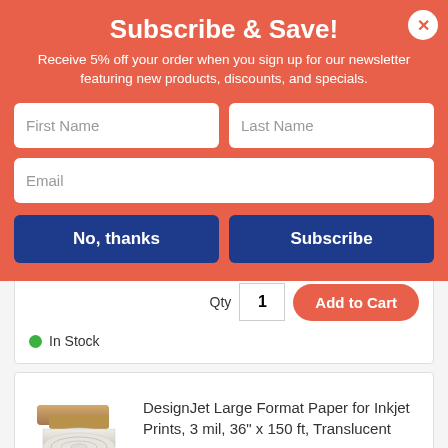Subscribe & Save!
Receive 5% off your order when you sign up for our newsletter featuring new products, discounts, and specials.
First Name
Last Name
Email
No, thanks
Subscribe
Qty  1
Add to Cart
In Stock
DesignJet Large Format Paper for Inkjet Prints, 3 mil, 36" x 150 ft, Translucent
ITEM ID: HEWC3859A